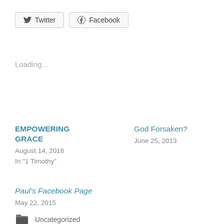[Figure (other): Twitter and Facebook share buttons]
Loading...
EMPOWERING GRACE
August 14, 2016
In "1 Timothy"
God Forsaken?
June 25, 2013
Paul's Facebook Page
May 22, 2015
Uncategorized
BOLDNESS
EVANGL
MISSION